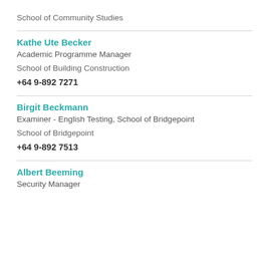School of Community Studies
Kathe Ute Becker
Academic Programme Manager
School of Building Construction
+64 9-892 7271
Birgit Beckmann
Examiner - English Testing, School of Bridgepoint
School of Bridgepoint
+64 9-892 7513
Albert Beeming
Security Manager